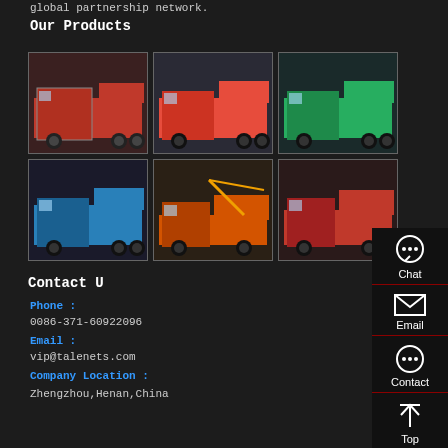global partnership network.
Our Products
[Figure (photo): Grid of 6 dump trucks in various colors (red, orange, green, blue, orange crane truck, red tractor)]
Contact Us
Phone : 0086-371-60922096
Email : vip@talenets.com
Company Location : Zhengzhou,Henan,China